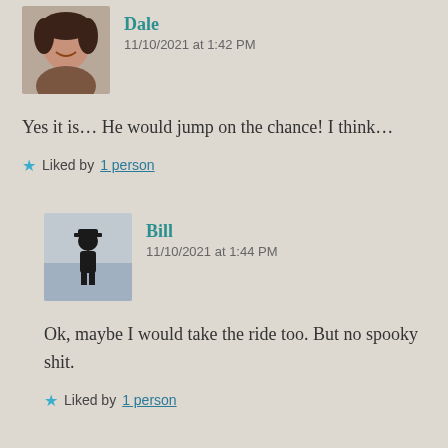[Figure (photo): Profile photo of Dale, a woman smiling, cropped headshot]
Dale
11/10/2021 at 1:42 PM
Yes it is... He would jump on the chance! I think...
Liked by 1 person
[Figure (photo): Profile photo of Bill, silhouette of a person standing by water]
Bill
11/10/2021 at 1:44 PM
Ok, maybe I would take the ride too. But no spooky shit.
Liked by 1 person